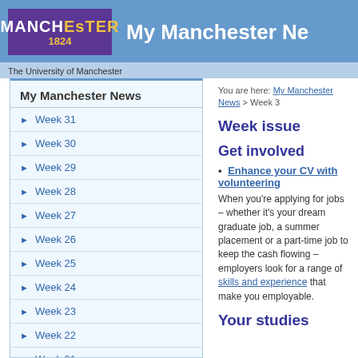My Manchester News — The University of Manchester
My Manchester News
Week 31
Week 30
Week 29
Week 28
Week 27
Week 26
Week 25
Week 24
Week 23
Week 22
Week 21
You are here: My Manchester News > Week 3
Week issue
Get involved
Enhance your CV with volunteering
When you're applying for jobs – whether it's your dream graduate job, a summer placement or a part-time job to keep the cash flowing – employers look for a range of skills and experience that make you employable.
Your studies